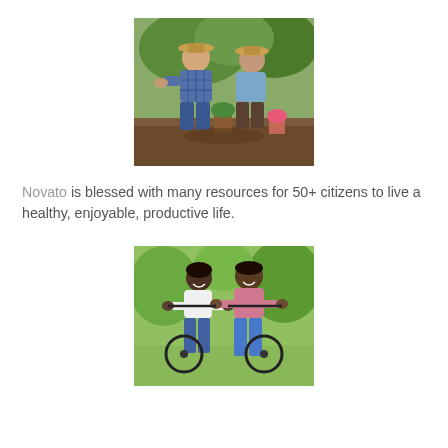[Figure (photo): Two elderly people wearing straw hats gardening outdoors in a green garden setting]
Novato is blessed with many resources for 50+ citizens to live a healthy, enjoyable, productive life.
[Figure (photo): A smiling African American couple riding bicycles outdoors in a green park setting]